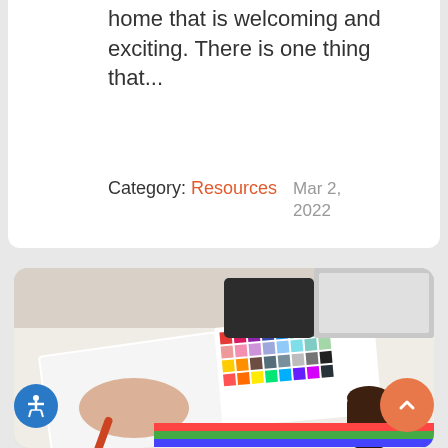home that is welcoming and exciting. There is one thing that...
Category: Resources    Mar 2, 2022
[Figure (photo): Person drawing or sketching in a notebook with a pencil, with a color swatch palette and other design materials on the desk, alongside a laptop or device in the background.]